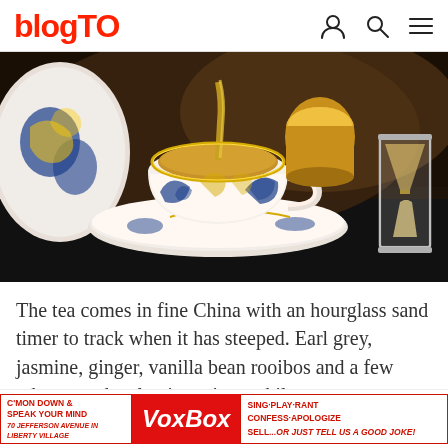blogTO
[Figure (photo): A decorative blue and gold fine China teacup on a matching saucer being filled with tea, with a glass hourglass sand timer visible on the right, set on a dark surface.]
The tea comes in fine China with an hourglass sand timer to track when it has steeped. Earl grey, jasmine, ginger, vanilla bean rooibos and a few others are the classic options while more rare teas can be chosen at an additional charge. A pot for two herb is $50.
[Figure (infographic): Advertisement for VoxBox at 70 Jefferson Avenue in Liberty Village. Text reads: C'MON DOWN & SPEAK YOUR MIND / VoxBox / SING·PLAY·RANT / CONFESS·APOLOGIZE / SELL...or just tell us a good joke!]